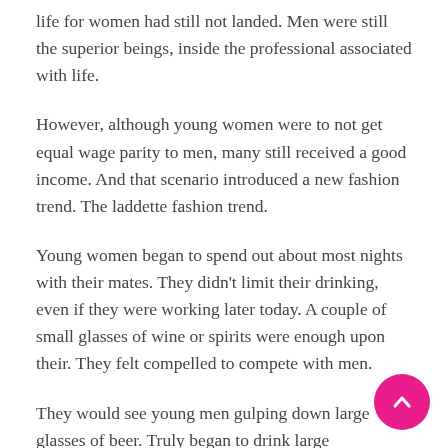life for women had still not landed. Men were still the superior beings, inside the professional associated with life.
However, although young women were to not get equal wage parity to men, many still received a good income. And that scenario introduced a new fashion trend. The laddette fashion trend.
Young women began to spend out about most nights with their mates. They didn't limit their drinking, even if they were working later today. A couple of small glasses of wine or spirits were enough upon their. They felt compelled to compete with men.
They would see young men gulping down large glasses of beer. Truly began to drink large